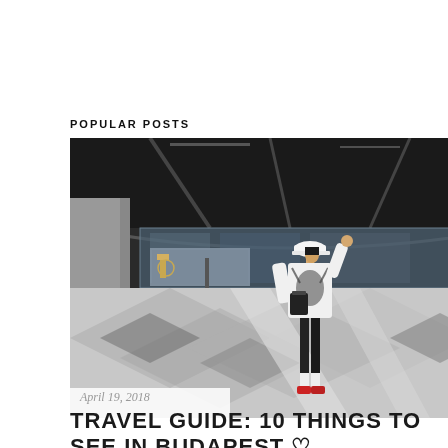POPULAR POSTS
[Figure (photo): A woman wearing a white cap, white graphic sweatshirt, black leggings, and red sneakers, carrying a black bag, standing in a large modern airport terminal with geometric patterned marble floors.]
April 19, 2018
TRAVEL GUIDE: 10 THINGS TO SEE IN BUDAPEST ♡